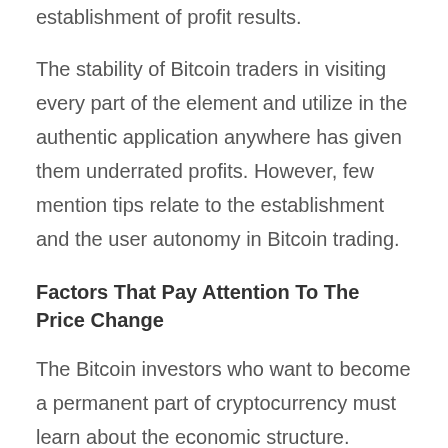establishment of profit results.
The stability of Bitcoin traders in visiting every part of the element and utilize in the authentic application anywhere has given them underrated profits. However, few mention tips relate to the establishment and the user autonomy in Bitcoin trading.
Factors That Pay Attention To The Price Change
The Bitcoin investors who want to become a permanent part of cryptocurrency must learn about the economic structure. External forces pretty much influence the monetary policy. Traders do not have any right to participate. The currency results are